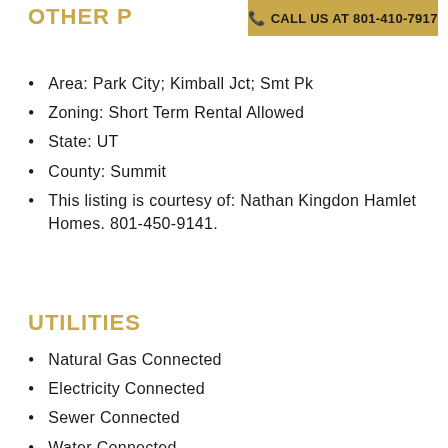OTHER P
[Figure (other): Gold banner with phone icon and text: CALL US AT 801-410-7917]
Area: Park City; Kimball Jct; Smt Pk
Zoning: Short Term Rental Allowed
State: UT
County: Summit
This listing is courtesy of: Nathan Kingdon Hamlet Homes. 801-450-9141.
UTILITIES
Natural Gas Connected
Electricity Connected
Sewer Connected
Water Connected